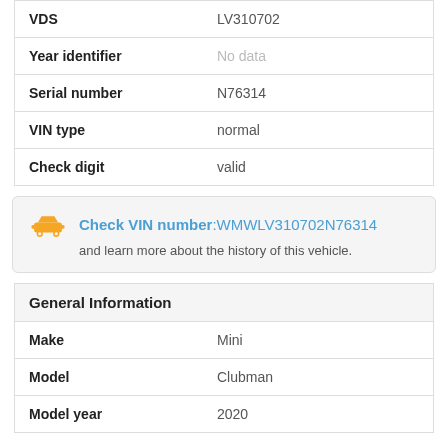| Field | Value |
| --- | --- |
| VDS | LV310702 |
| Year identifier | No data |
| Serial number | N76314 |
| VIN type | normal |
| Check digit | valid |
Check VIN number:WMWLV310702N76314 and learn more about the history of this vehicle.
| Field | Value |
| --- | --- |
| General Information |  |
| Make | Mini |
| Model | Clubman |
| Model year | 2020 |